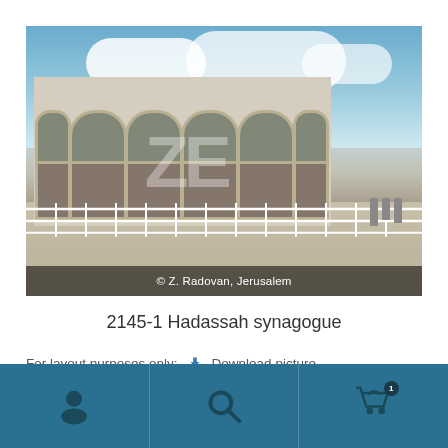[Figure (photo): Photograph of the Hadassah synagogue exterior showing arched glass windows and facade with people in background, watermarked with Z. Radovan, Jerusalem]
2145-1 Hadassah synagogue
For layout purposes only:  Download picture
[Figure (screenshot): Teal navigation bar with user icon, search icon, and shopping cart icon with badge]